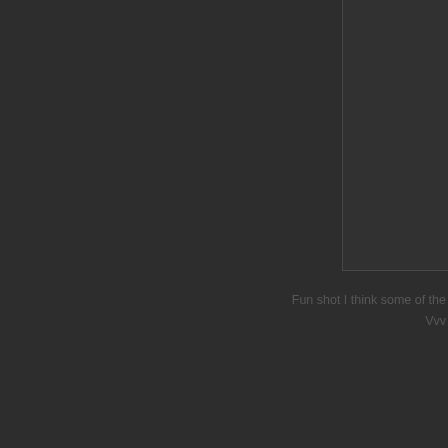[Figure (photo): Partially visible image panel in upper right, dark background, content clipped]
Fun shot I think some of the
Vvv
And last very oh (
C
[Figure (photo): Partially visible image panel in lower right with broken image icon, dark background]